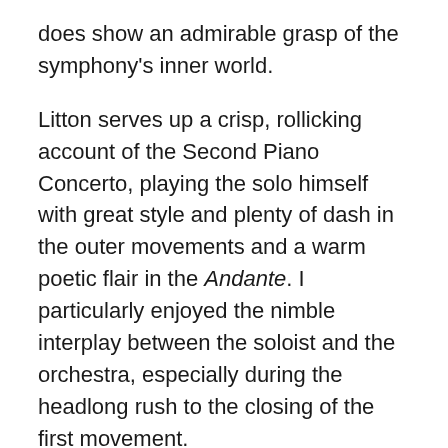does show an admirable grasp of the symphony's inner world.
Litton serves up a crisp, rollicking account of the Second Piano Concerto, playing the solo himself with great style and plenty of dash in the outer movements and a warm poetic flair in the Andante. I particularly enjoyed the nimble interplay between the soloist and the orchestra, especially during the headlong rush to the closing of the first movement.
The Festive Overture is served up with a glowing, majestic sound that is this orchestra's hallmark, and is perfectly paced and beautifully balanced, even if at the big cello tune those diabolical syncopations are not as nimble as they should be. Personally, I would have preferred the couplings to come at the end – opening the programme with such cheeriness somehow seems disrespectful to the harrowing Fifth